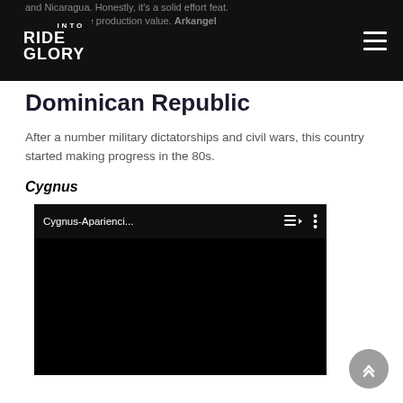Ride Into Glory – navigation header with logo and hamburger menu
and Nicaragua. Honestly, it's a solid effort feat. solid some nice production value. Arkangel
Dominican Republic
After a number military dictatorships and civil wars, this country started making progress in the 80s.
Cygnus
[Figure (screenshot): Embedded YouTube video player showing 'Cygnus-Aparienci...' with playlist and options icons in the top bar, black video area below]